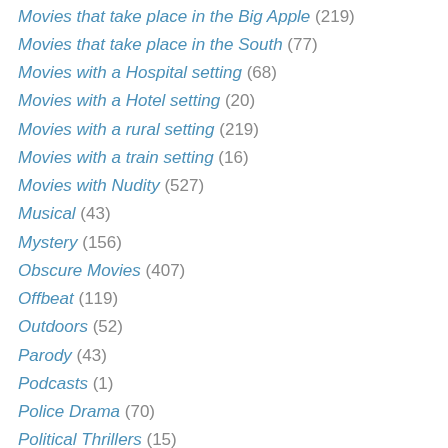Movies that take place in the Big Apple (219)
Movies that take place in the South (77)
Movies with a Hospital setting (68)
Movies with a Hotel setting (20)
Movies with a rural setting (219)
Movies with a train setting (16)
Movies with Nudity (527)
Musical (43)
Mystery (156)
Obscure Movies (407)
Offbeat (119)
Outdoors (52)
Parody (43)
Podcasts (1)
Police Drama (70)
Political Thrillers (15)
Prison Flicks (27)
Psychological (77)
Quirky (71)